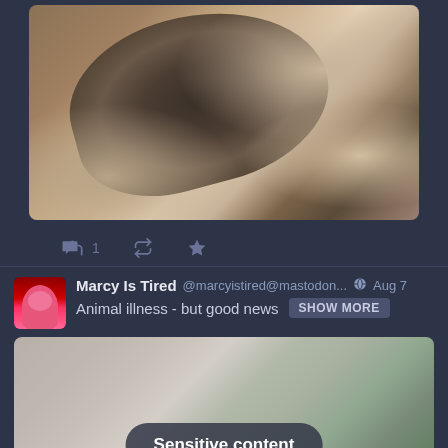[Figure (photo): Photo of a cat curled up on light-colored cushions/bedding, viewed from above. The cat appears to be a tabby, mostly dark with some lighter areas. The photo is cropped, showing only the top portion of the post.]
1 [retweet icon] [star icon]
Marcy Is Tired @marcyistired@mastodon... Aug 7
Animal illness - but good news SHOW MORE
[Figure (photo): Sensitive content placeholder with blurred gradient background (green, tan, mauve tones). A dark rounded rectangle badge reads 'Sensitive content'.]
Show thread